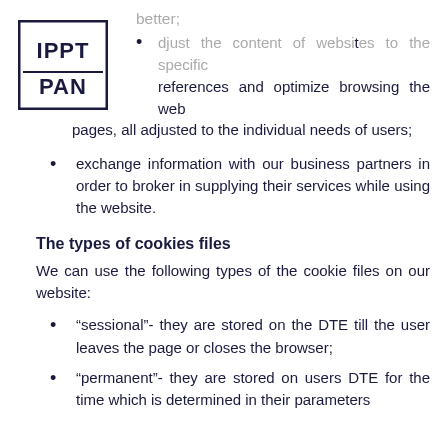[Figure (logo): IPPT PAN institution logo — square border with 'IPPT' in bold letters on top and 'PAN' below]
adjust the content of websites to the specific references and optimize browsing the web pages, all adjusted to the individual needs of users;
exchange information with our business partners in order to broker in supplying their services while using the website.
The types of cookies files
We can use the following types of the cookie files on our website:
“sessional”- they are stored on the DTE till the user leaves the page or closes the browser;
“permanent”- they are stored on users DTE for the time which is determined in their parameters